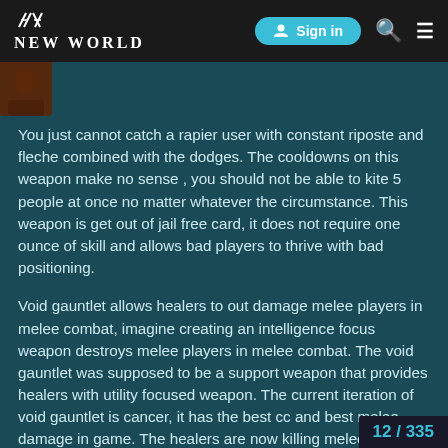NEW WORLD — Sign in navigation header
[Figure (screenshot): User avatar thumbnail, small portrait image]
You just cannot catch a rapier user with constant riposte and fleche combined with the dodges. The cooldowns on this weapon make no sense , you should not be able to kite 5 people at once no matter whatever the circumstance. This weapon is get out of jail free card, it does not require one ounce of skill and allows bad players to thrive with bad positioning.
Void gauntlet allows healers to out damage melee players in melee combat, imagine creating an intelligence focus weapon destroys melee players in melee combat. The void gauntlet was supposed to be a support weapon that provides healers with utility focused weapon. The current iteration of void gauntlet is cancer, it has the best cc and best melee damage in game. The healers are now killing melee players head on, is this good game de:
12 / 335